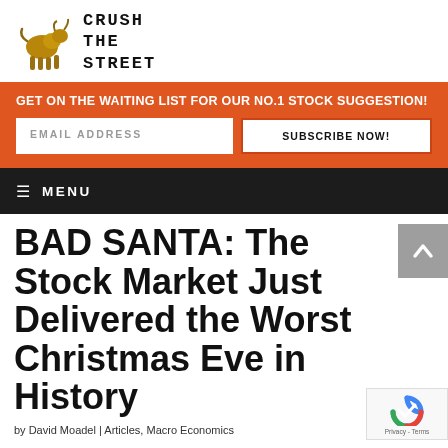[Figure (logo): Crush The Street logo with a bull statue and text 'CRUSH THE STREET' in a grunge/stamp style font]
GET ON THE WAITING LIST FOR OUR NO.1 STOCK SUGGESTION!
EMAIL ADDRESS
SUBSCRIBE NOW!
≡ MENU
BAD SANTA: The Stock Market Just Delivered the Worst Christmas Eve in History
by David Moadel | Articles, Macro Economics